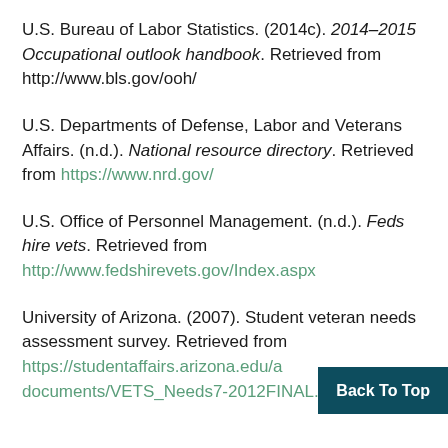U.S. Bureau of Labor Statistics. (2014c). 2014–2015 Occupational outlook handbook. Retrieved from http://www.bls.gov/ooh/
U.S. Departments of Defense, Labor and Veterans Affairs. (n.d.). National resource directory. Retrieved from https://www.nrd.gov/
U.S. Office of Personnel Management. (n.d.). Feds hire vets. Retrieved from http://www.fedshirevets.gov/Index.aspx
University of Arizona. (2007). Student veteran needs assessment survey. Retrieved from https://studentaffairs.arizona.edu/a…documents/VETS_Needs7-2012FINAL.pdf